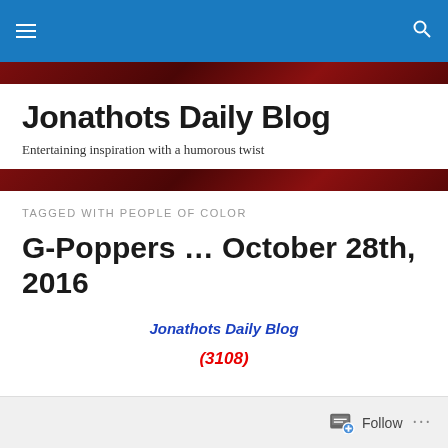Jonathots Daily Blog — navigation bar
Jonathots Daily Blog
Entertaining inspiration with a humorous twist
TAGGED WITH PEOPLE OF COLOR
G-Poppers … October 28th, 2016
Jonathots Daily Blog
(3108)
Follow